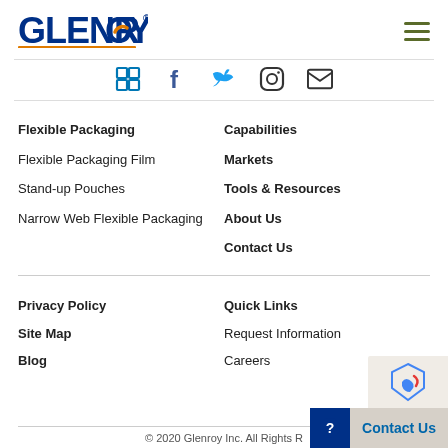[Figure (logo): Glenroy logo with dark blue bold text and orange underline accent]
[Figure (infographic): Social media icons: LinkedIn, Facebook, Twitter, Instagram, Email]
Flexible Packaging
Flexible Packaging Film
Stand-up Pouches
Narrow Web Flexible Packaging
Capabilities
Markets
Tools & Resources
About Us
Contact Us
Privacy Policy
Site Map
Blog
Quick Links
Request Information
Careers
© 2020 Glenroy Inc. All Rights R...